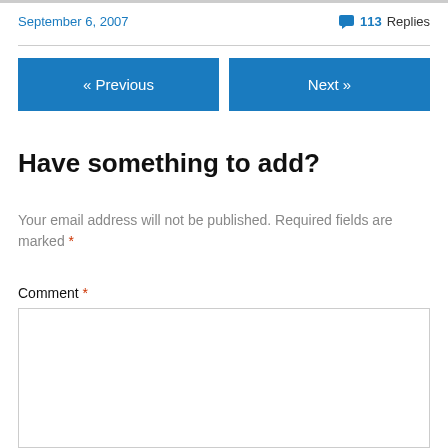September 6, 2007
113 Replies
« Previous
Next »
Have something to add?
Your email address will not be published. Required fields are marked *
Comment *